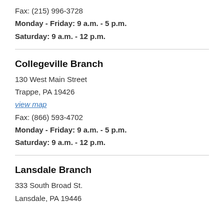Fax: (215) 996-3728
Monday - Friday: 9 a.m. - 5 p.m.
Saturday:  9 a.m. - 12 p.m.
Collegeville Branch
130 West Main Street
Trappe, PA 19426
view map
Fax: (866) 593-4702
Monday - Friday: 9 a.m. - 5 p.m.
Saturday: 9 a.m. - 12 p.m.
Lansdale Branch
333 South Broad St.
Lansdale, PA 19446